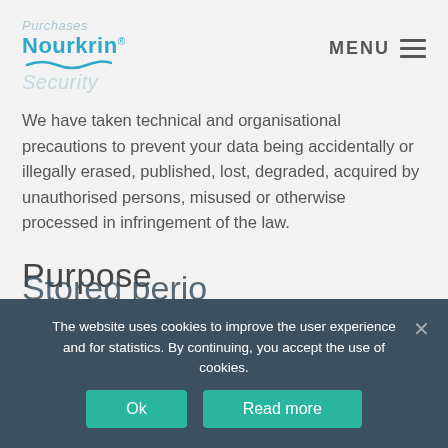Nourkrin - Purchases Security
We have taken technical and organisational precautions to prevent your data being accidentally or illegally erased, published, lost, degraded, acquired by unauthorised persons, misused or otherwise processed in infringement of the law.
Purpose
The data are used to identify you as a user and show you the ads that are most likely to be relevant to you, to register your purchases and payments, as well as to provide the services you have requested, e.g. sending you a newsletter. We furthermore utilise the data to
Stored perio...
The website uses cookies to improve the user experience and for statistics. By continuing, you accept the use of cookies.